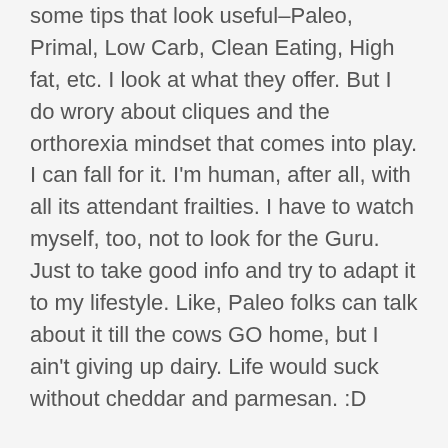some tips that look useful–Paleo, Primal, Low Carb, Clean Eating, High fat, etc. I look at what they offer. But I do wrory about cliques and the orthorexia mindset that comes into play. I can fall for it. I'm human, after all, with all its attendant frailties. I have to watch myself, too, not to look for the Guru. Just to take good info and try to adapt it to my lifestyle. Like, Paleo folks can talk about it till the cows GO home, but I ain't giving up dairy. Life would suck without cheddar and parmesan. :D
I do hope the ones who focus on Kruse and the other gurus always keep a bit of skeptical grain of salt on the tips of their tongues. It's really easy to get sucked in. Those Kimkins folks just wanted NOT to be obese. They ended up having health issues, because that pounds melting away is very seductive, and those before and after pics/magazine articles are alluring.
I'm glad Kimkins–the greedy con artist–got some comeuppance. But she still has a website and people don't do due diligence before they try stuff. Glad her...